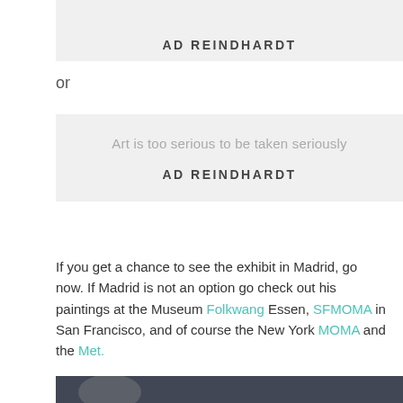[Figure (other): Grey box showing only the author name AD REINDHARDT at the bottom (top quote box, partial view)]
or
[Figure (other): Grey quote card with the quote 'Art is too serious to be taken seriously' in light grey and 'AD REINDHARDT' in bold dark text below]
If you get a chance to see the exhibit in Madrid, go now. If Madrid is not an option go check out his paintings at the Museum Folkwang Essen, SFMOMA in San Francisco, and of course the New York MOMA and the Met.
[Figure (photo): Partial view of a dark painting or photograph at the bottom of the page]